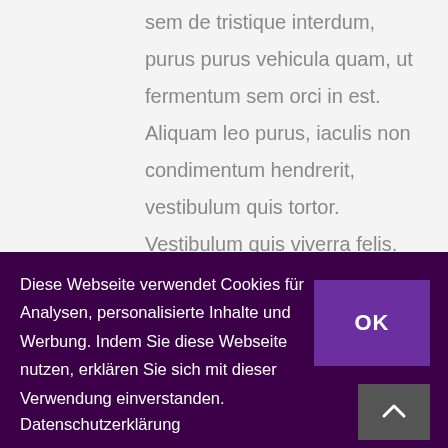sem de tristique interdum, purus purus vehicula quam, ut fermentum sem orci in est. Aliquam leo purus, iaculis non condimentum hendrerit, vestibulum quis tortor. Vestibulum quis viverra felis. Vestibulum elementum magna ut diam placerat, in venenatis est egestas. Vivamus at libero auctor, ullamcorper
Diese Webseite verwendet Cookies für Analysen, personalisierte Inhalte und Werbung. Indem Sie diese Webseite nutzen, erklären Sie sich mit dieser Verwendung einverstanden.
Datenschutzerklärung